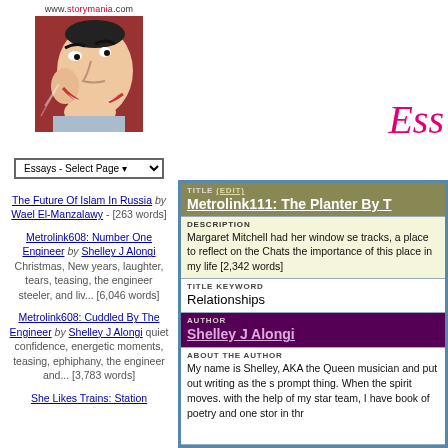[Figure (logo): Storymania.com logo with illustrated laughing face character on red/brown background]
www.storymania.com
Essays - Select Page
The Future Of Islam In Russia by Wael El-Manzalawy - [263 words]
Metrolink608: Number One Engineer by Shelley J Alongi Christmas, New years, laughter, tears, teasing, the engineer steeler, and liv... [6,046 words]
Metrolink608: Cuddled By The Engineer by Shelley J Alongi quiet confidence, energetic moments, teasing, ephiphany, the engineer and... [3,783 words]
She Likes Trains: Station
Metrolink111: The Planter By T
TITLE (EDIT)
DESCRIPTION
Margaret Mitchell had her window se tracks, a place to reflect on the Chats the importance of this place in my life [2,342 words]
TITLE KEYWORD
Relationships
AUTHOR
Shelley J Alongi
ABOUT THE AUTHOR
My name is Shelley, AKA the Queen musician and put out writing as the s prompt thing. When the spirit moves. with the help of my star team, I have book of poetry and one stor in thr